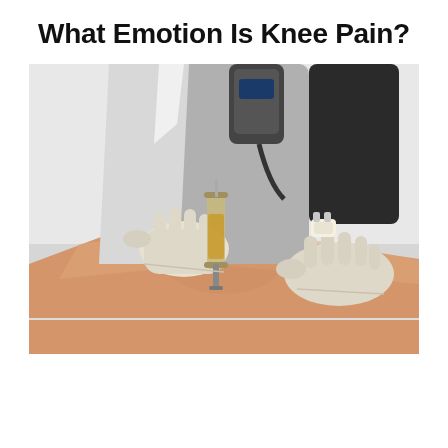What Emotion Is Knee Pain?
[Figure (photo): A medical professional wearing white latex gloves holds a small glass syringe/vial with amber-colored liquid near a patient's knee. The patient's bare leg rests on a white examination table. Another gloved hand rests on the knee. The healthcare worker wears a gray uniform and a black sleeve/brace on one arm.]